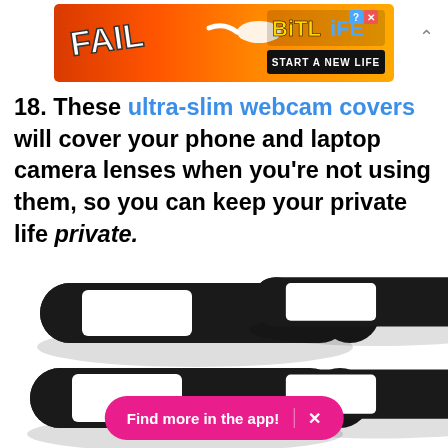[Figure (screenshot): BitLife mobile game advertisement banner with 'FAIL' text and animated character on orange/flame background. BitLife logo with 'START A NEW LIFE' tagline.]
18. These ultra-slim webcam covers will cover your phone and laptop camera lenses when you're not using them, so you can keep your private life private.
[Figure (photo): Four black ultra-slim webcam covers (pill/slider shaped) arranged in two rows of two against a white background. Each cover shows a white rectangular sliding window.]
[Figure (screenshot): Pink 'Find more in the app!' call-to-action button with an X close button.]